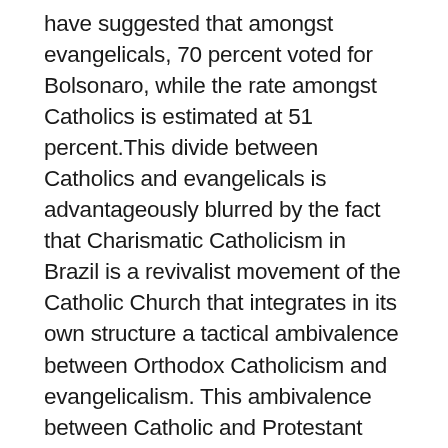have suggested that amongst evangelicals, 70 percent voted for Bolsonaro, while the rate amongst Catholics is estimated at 51 percent.This divide between Catholics and evangelicals is advantageously blurred by the fact that Charismatic Catholicism in Brazil is a revivalist movement of the Catholic Church that integrates in its own structure a tactical ambivalence between Orthodox Catholicism and evangelicalism. This ambivalence between Catholic and Protestant traditions aligns with, and is mirrored in, the religious spectrum of the new presidential house: Jair Bolsonaro's Catholicism and Michelle Bolsonaro's evangelicalism. The candidate's rise to power, in other words, coincides with the ascendant dynamic force of the Catholic Charismatic movement, with its hybrid blend of theistic elements.